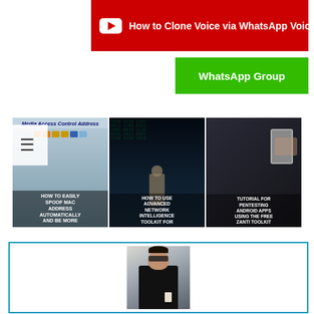[Figure (screenshot): YouTube-style red banner with play icon and text 'How to Clone Voice via WhatsApp Voice Message']
[Figure (screenshot): Green WhatsApp Group button]
[Figure (screenshot): Three video thumbnail cards: (1) HOW TO EASILY SPOOF MAC ADDRESS AUTOMATICALLY AND BE MORE, (2) HOW TO USE ADVANCED NETWORK INTELLIGENCE TOOLKIT FOR, (3) TUTORIAL FOR PENTESTING ANDROID APPS USING THE FREE ZANTI TOOLKIT]
[Figure (photo): Person wearing sunglasses and dark jacket holding a cup, standing outdoors in snow, inside a teal-bordered profile/author box]